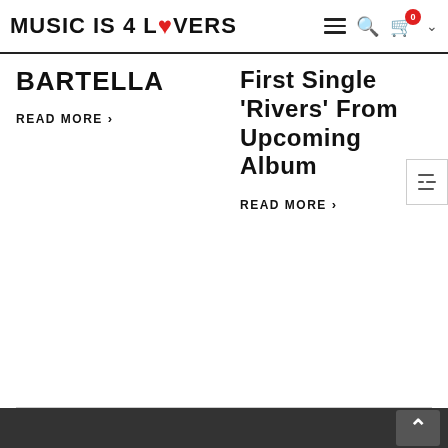MUSIC IS 4 LOVERS
BARTELLA
READ MORE >
First Single 'Rivers' From Upcoming Album
READ MORE >